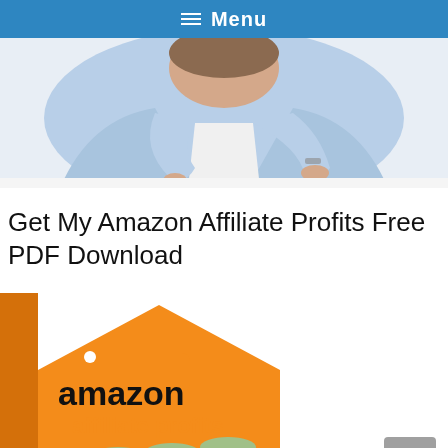≡ Menu
[Figure (photo): Person in light blue jacket leaning over a white surface, pointing downward with one hand, viewed from above the waist.]
Get My Amazon Affiliate Profits Free PDF Download
[Figure (photo): Book cover for 'amazon affiliate profits' with orange and white design, showing rolled-up US dollar bills on the cover.]